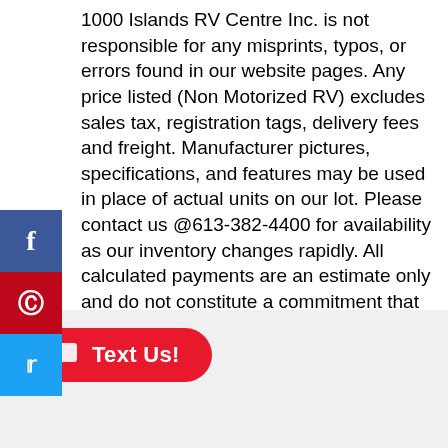1000 Islands RV Centre Inc. is not responsible for any misprints, typos, or errors found in our website pages. Any price listed (Non Motorized RV) excludes sales tax, registration tags, delivery fees and freight. Manufacturer pictures, specifications, and features may be used in place of actual units on our lot. Please contact us @613-382-4400 for availability as our inventory changes rapidly. All calculated payments are an estimate only and do not constitute a commitment that financing or a specific interest rate or term is available. Payments do NOT include Taxes, License Fee or Admin Fee
[Figure (infographic): Social media sharing sidebar with Facebook (blue), Pinterest (red), and Twitter (light blue) buttons]
[Figure (other): Red rounded button with chat icon and 'Text Us!' label]